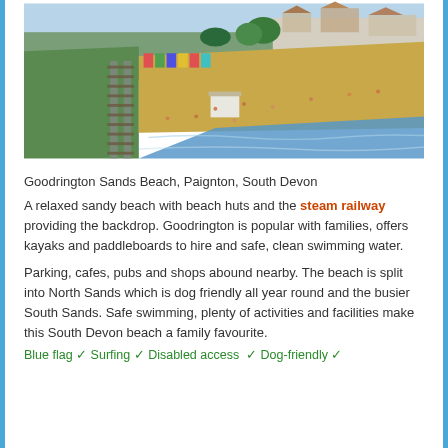[Figure (photo): Aerial view of Goodrington Sands Beach, Paignton, South Devon showing sandy beach, beach huts, steam railway tracks, and coastal town buildings]
Goodrington Sands Beach, Paignton, South Devon
A relaxed sandy beach with beach huts and the steam railway providing the backdrop. Goodrington is popular with families, offers kayaks and paddleboards to hire and safe, clean swimming water.
Parking, cafes, pubs and shops abound nearby. The beach is split into North Sands which is dog friendly all year round and the busier South Sands. Safe swimming, plenty of activities and facilities make this South Devon beach a family favourite.
Blue flag ✓ Surfing ✓ Disabled access ... ✓ Dog-friendly ✓